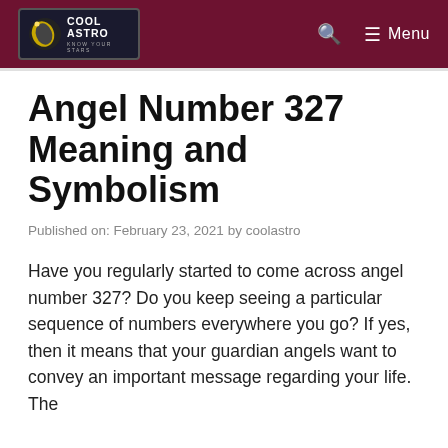COOL ASTRO — Menu
Angel Number 327 Meaning and Symbolism
Published on: February 23, 2021 by coolastro
Have you regularly started to come across angel number 327? Do you keep seeing a particular sequence of numbers everywhere you go? If yes, then it means that your guardian angels want to convey an important message regarding your life. The